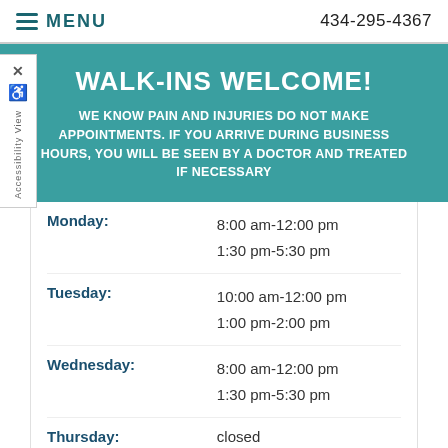MENU | 434-295-4367
WALK-INS WELCOME!
WE KNOW PAIN AND INJURIES DO NOT MAKE APPOINTMENTS. IF YOU ARRIVE DURING BUSINESS HOURS, YOU WILL BE SEEN BY A DOCTOR AND TREATED IF NECESSARY
| Day | Hours |
| --- | --- |
| Monday: | 8:00 am-12:00 pm
1:30 pm-5:30 pm |
| Tuesday: | 10:00 am-12:00 pm
1:00 pm-2:00 pm |
| Wednesday: | 8:00 am-12:00 pm
1:30 pm-5:30 pm |
| Thursday: | closed |
| Friday: | 8:00 am-12:00 pm
1:30 pm-5:30 pm |
| Saturday: | closed |
| Sunday: | closed |